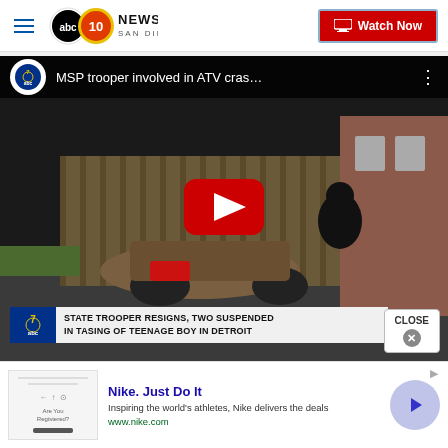abc 10 NEWS SAN DIEGO — Watch Now
[Figure (screenshot): YouTube video thumbnail showing MSP trooper involved in ATV crash, with a person riding an ATV on a street. Lower-third chyron reads: STATE TROOPER RESIGNS, TWO SUSPENDED IN TASING OF TEENAGE BOY IN DETROIT. Red YouTube play button centered on video.]
[Figure (screenshot): Nike advertisement: 'Nike. Just Do It' — Inspiring the world's athletes, Nike delivers the deals — www.nike.com. Ad includes small image placeholder and a circular arrow button on the right.]